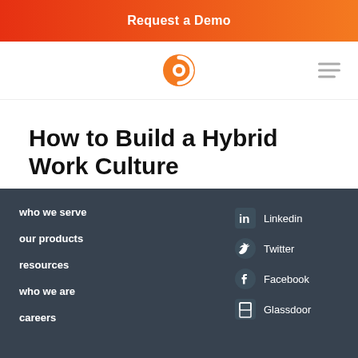Request a Demo
[Figure (logo): Circular orange and white logo in navigation bar]
How to Build a Hybrid Work Culture
blog post
who we serve | our products | resources | who we are | careers | Linkedin | Twitter | Facebook | Glassdoor